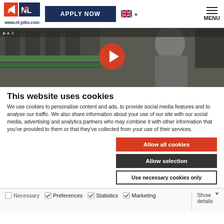www.nl-jobs.com | APPLY NOW | MENU
[Figure (screenshot): Website screenshot showing nl-jobs.com header with logo, Apply Now button, UK flag language selector, and MENU icon]
[Figure (photo): Video thumbnail of a woman working at an industrial production line, with an orange YouTube play button overlay]
This website uses cookies
We use cookies to personalise content and ads, to provide social media features and to analyse our traffic. We also share information about your use of our site with our social media, advertising and analytics partners who may combine it with other information that you’ve provided to them or that they’ve collected from your use of their services.
Allow all cookies
Allow selection
Use necessary cookies only
Necessary | Preferences | Statistics | Marketing | Show details